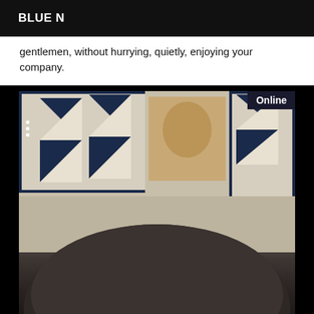BLUE N
gentlemen, without hurrying, quietly, enjoying your company.
[Figure (photo): A photograph showing a decorative quilt with navy blue and white pinwheel/star pattern on a light beige/cream background, with a dark rounded object in the foreground. An 'Online' badge appears in the upper right corner of the photo.]